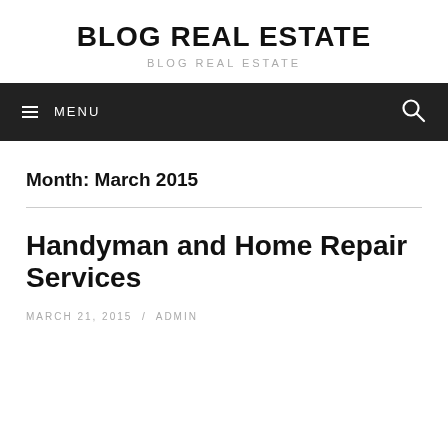BLOG REAL ESTATE
BLOG REAL ESTATE
≡ MENU
Month: March 2015
Handyman and Home Repair Services
MARCH 21, 2015 / ADMIN